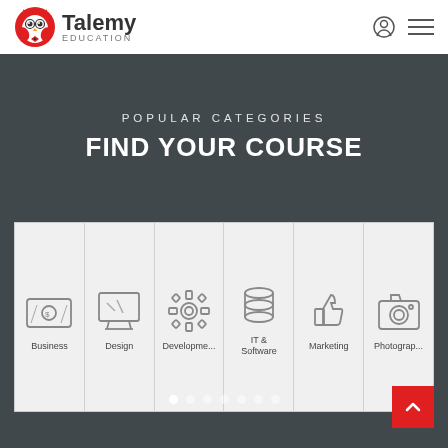[Figure (logo): Talemy Education logo with owl icon and brand name]
POPULAR CATEGORIES
FIND YOUR COURSE
[Figure (infographic): Six category cards: Business, Design, Development, IT & Software, Marketing, Photography — each with a line-art icon and label]
[Figure (other): Pagination dots (7 dots, first active)]
[Figure (other): Back-to-top red button with upward chevron]